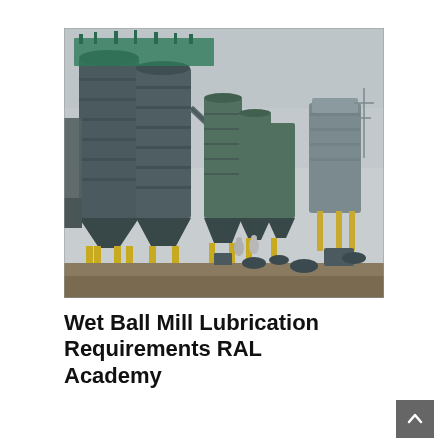[Figure (photo): Industrial facility with multiple large cylindrical storage silos/tanks in dark grey-green color, supported by yellow structural frames, arranged in a row on a construction site with dirt ground. Overcast sky. Additional silos visible in the background right.]
Wet Ball Mill Lubrication Requirements RAL Academy